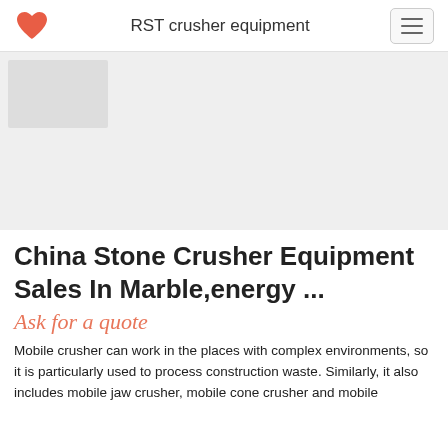RST crusher equipment
[Figure (other): Gray advertisement banner area with a small image placeholder in the upper left corner]
China Stone Crusher Equipment Sales In Marble,energy ...
Ask for a quote
Mobile crusher can work in the places with complex environments, so it is particularly used to process construction waste. Similarly, it also includes mobile jaw crusher, mobile cone crusher and mobile